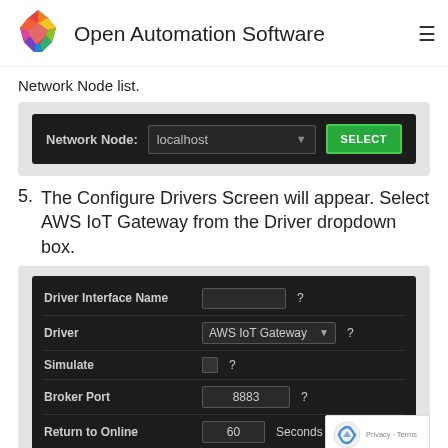Open Automation Software
Network Node list.
[Figure (screenshot): Dark UI panel showing Network Node field with 'localhost' in dropdown and green SELECT button]
5. The Configure Drivers Screen will appear. Select AWS IoT Gateway from the Driver dropdown box.
[Figure (screenshot): Dark Configure Drivers panel showing fields: Driver Interface Name (blank), Driver (AWS IoT Gateway dropdown), Simulate (checkbox), Broker Port (8883), Return to Online (60, Seconds)]